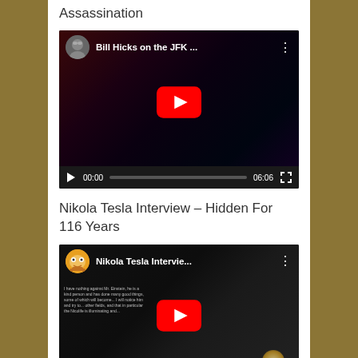Assassination
[Figure (screenshot): YouTube video embed: 'Bill Hicks on the JFK ...' with play button, channel icon, video controls showing 00:00 / 06:06]
Nikola Tesla Interview – Hidden For 116 Years
[Figure (screenshot): YouTube video embed: 'Nikola Tesla Intervie...' with play button, Flintstones channel icon, dark video thumbnail with text overlay, video controls showing 00:00 / 34:55]